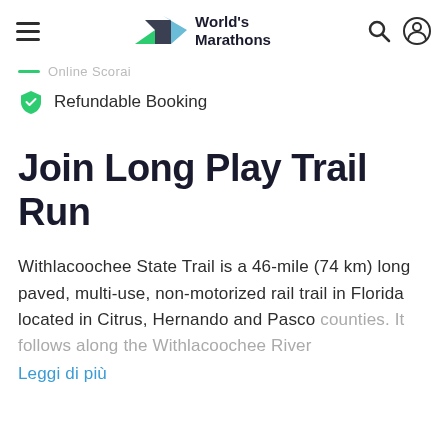World's Marathons
Online Scorai
Refundable Booking
Join Long Play Trail Run
Withlacoochee State Trail is a 46-mile (74 km) long paved, multi-use, non-motorized rail trail in Florida located in Citrus, Hernando and Pasco counties. It follows along the Withlacoochee River
Leggi di più